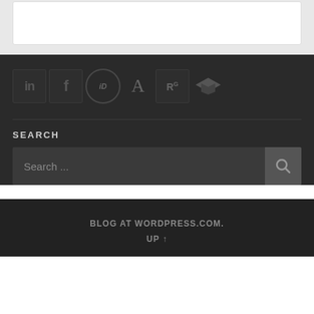[Figure (screenshot): White card/box on light grey background, top section of a webpage]
[Figure (infographic): Row of social media and academic profile icons: LinkedIn, Facebook, ORCID, Academia.edu, ResearchGate, Google Scholar]
SEARCH
[Figure (screenshot): Search input box with placeholder text 'Search ...' and a search button with magnifier icon]
BLOG AT WORDPRESS.COM.
UP ↑